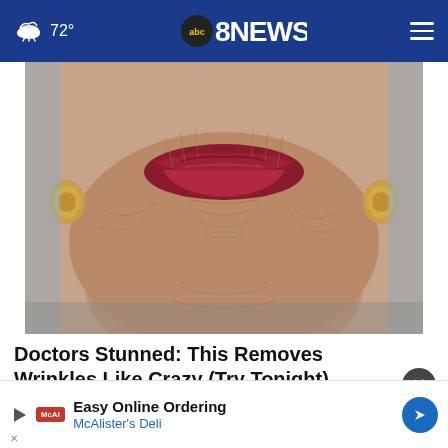72° abc8NEWS
[Figure (photo): Close-up photo of an elderly woman's lower face and lips with red lipstick, showing deep wrinkles and aged skin]
Doctors Stunned: This Removes Wrinkles Like Crazy (Try Tonight)
Rejuvalift
[Figure (infographic): Advertisement banner: Easy Online Ordering - McAlister's Deli with play button, McAl logo, and blue navigation arrow icon]